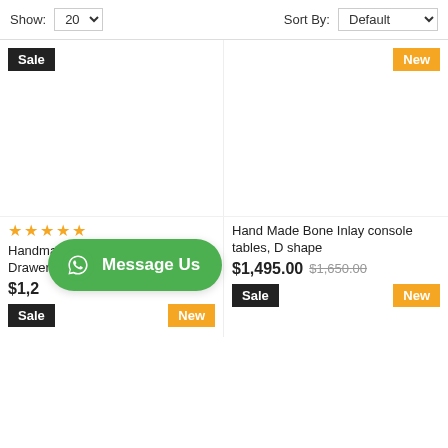Show: 20  Sort By: Default
[Figure (screenshot): E-commerce product grid showing 4 product slots with Sale and New badges. Top-left and bottom-left slots for Handmade Bone Inlay Desk 2 Drawer with star rating and price $1,2xx. Top-right and bottom-right slots for Hand Made Bone Inlay console tables D shape with price $1,495.00 (was $1,650.00). A WhatsApp Message Us overlay button is shown over the bottom-left product.]